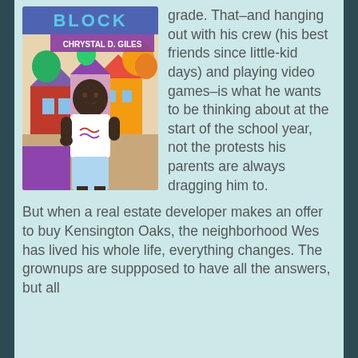[Figure (illustration): Book cover illustration showing a young Black boy in a white t-shirt and light blue shorts standing in front of a colorful neighborhood scene with houses and trees. The book is titled 'BLOCK' by Chrystal D. Giles.]
grade. That–and hanging out with his crew (his best friends since little-kid days) and playing video games–is what he wants to be thinking about at the start of the school year, not the protests his parents are always dragging him to.
But when a real estate developer makes an offer to buy Kensington Oaks, the neighborhood Wes has lived his whole life, everything changes. The grownups are suppposed to have all the answers, but all